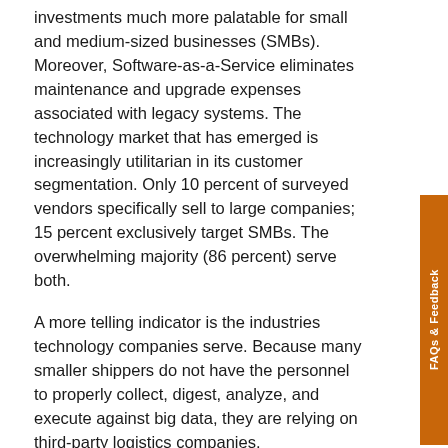investments much more palatable for small and medium-sized businesses (SMBs). Moreover, Software-as-a-Service eliminates maintenance and upgrade expenses associated with legacy systems. The technology market that has emerged is increasingly utilitarian in its customer segmentation. Only 10 percent of surveyed vendors specifically sell to large companies; 15 percent exclusively target SMBs. The overwhelming majority (86 percent) serve both.
A more telling indicator is the industries technology companies serve. Because many smaller shippers do not have the personnel to properly collect, digest, analyze, and execute against big data, they are relying on third-party logistics companies.
This has created new traction for IT vendors to sell to service providers (see Figure 1). Ninety-two percent of companies surveyed serve 3PLs, warehouse, and